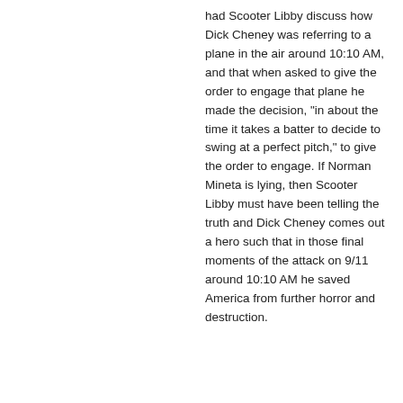had Scooter Libby discuss how Dick Cheney was referring to a plane in the air around 10:10 AM, and that when asked to give the order to engage that plane he made the decision, "in about the time it takes a batter to decide to swing at a perfect pitch," to give the order to engage. If Norman Mineta is lying, then Scooter Libby must have been telling the truth and Dick Cheney comes out a hero such that in those final moments of the attack on 9/11 around 10:10 AM he saved America from further horror and destruction.